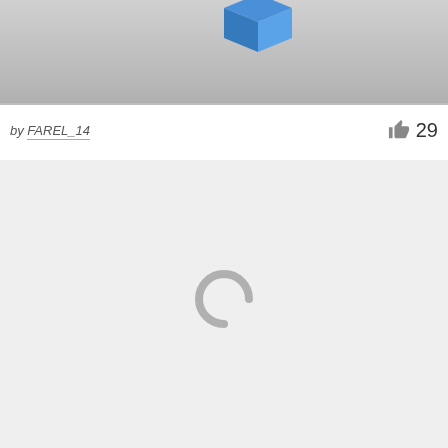[Figure (screenshot): Top portion of a screenshot showing a gray gradient background with a blue 3D box/dropbox icon partially visible at the top]
by FAREL_14   👍 29
[Figure (screenshot): Loading area with light gray background showing a gray letter C spinner indicating content is loading]